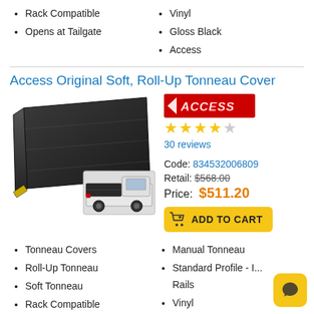Rack Compatible
Opens at Tailgate
Vinyl
Gloss Black
Access
Access Original Soft, Roll-Up Tonneau Cover
[Figure (photo): Product photo of Access Original Soft Roll-Up Tonneau Cover showing the black vinyl cover laid flat and installed on a truck bed]
[Figure (logo): ACCESS brand logo in red with white text]
★★★★☆ 30 reviews
Code: 834532006809
Retail: $568.00
Price: $511.20
Tonneau Covers
Roll-Up Tonneau
Soft Tonneau
Rack Compatible
Manual Tonneau
Standard Profile - I... Rails
Vinyl